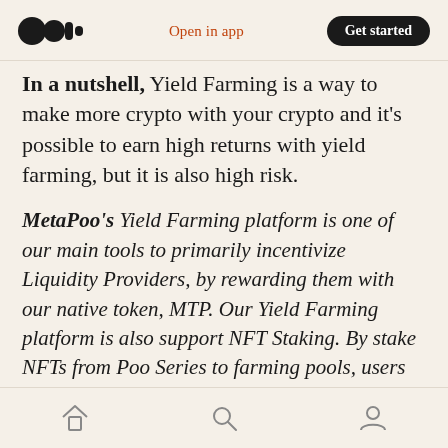Medium logo | Open in app | Get started
In a nutshell, Yield Farming is a way to make more crypto with your crypto and it's possible to earn high returns with yield farming, but it is also high risk.
MetaPoo's Yield Farming platform is one of our main tools to primarily incentivize Liquidity Providers, by rewarding them with our native token, MTP. Our Yield Farming platform is also support NFT Staking. By stake NFTs from Poo Series to farming pools, users can further increase the reward receive.
MetaPoo will become the fastest growing DEX on
Home | Search | Profile